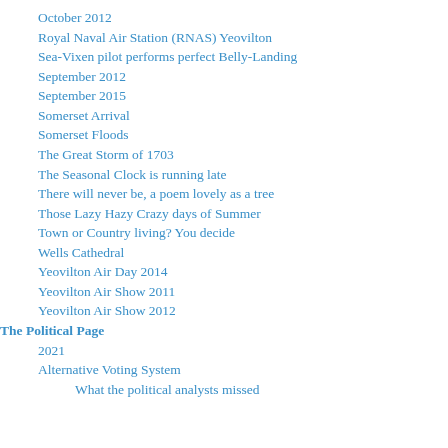October 2012
Royal Naval Air Station (RNAS) Yeovilton
Sea-Vixen pilot performs perfect Belly-Landing
September 2012
September 2015
Somerset Arrival
Somerset Floods
The Great Storm of 1703
The Seasonal Clock is running late
There will never be, a poem lovely as a tree
Those Lazy Hazy Crazy days of Summer
Town or Country living? You decide
Wells Cathedral
Yeovilton Air Day 2014
Yeovilton Air Show 2011
Yeovilton Air Show 2012
The Political Page
2021
Alternative Voting System
What the political analysts missed